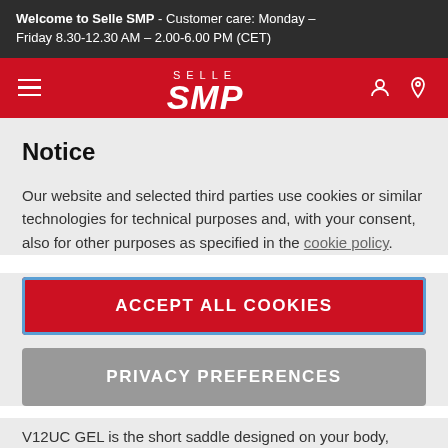Welcome to Selle SMP - Customer care: Monday – Friday 8.30-12.30 AM – 2.00-6.00 PM (CET)
[Figure (logo): Selle SMP logo on red navigation bar with hamburger menu and icons]
Notice
Our website and selected third parties use cookies or similar technologies for technical purposes and, with your consent, also for other purposes as specified in the cookie policy.
ACCEPT ALL COOKIES
PRIVACY PREFERENCES
V12UC GEL is the short saddle designed on your body, perfect